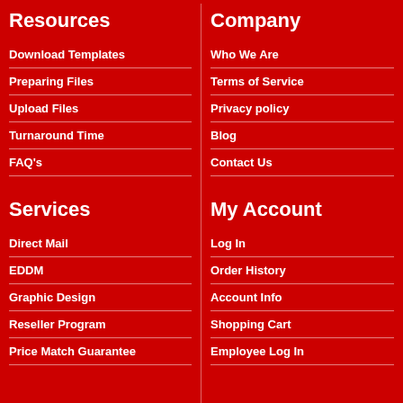Resources
Download Templates
Preparing Files
Upload Files
Turnaround Time
FAQ's
Services
Direct Mail
EDDM
Graphic Design
Reseller Program
Price Match Guarantee
Company
Who We Are
Terms of Service
Privacy policy
Blog
Contact Us
My Account
Log In
Order History
Account Info
Shopping Cart
Employee Log In